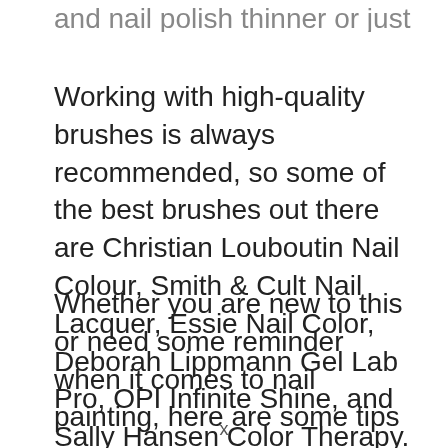and nail polish thinner or just rinse the brush.
Working with high-quality brushes is always recommended, so some of the best brushes out there are Christian Louboutin Nail Colour, Smith & Cult Nail Lacquer, Essie Nail Color, Deborah Lippmann Gel Lab Pro, OPI Infinite Shine, and Sally Hansen Color Therapy.
Whether you are new to this or need some reminder when it comes to nail painting, here are some tips which can come in handy anytime: you should always use a base coat, use cuticle oil and avoid cutting your cuticles, clean the edges and...
x